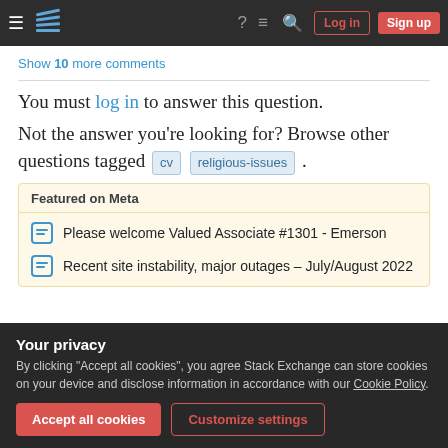Stack Exchange navigation bar with Log in and Sign up buttons
Show 10 more comments
You must log in to answer this question.
Not the answer you're looking for? Browse other questions tagged cv religious-issues .
Featured on Meta
Please welcome Valued Associate #1301 - Emerson
Recent site instability, major outages – July/August 2022
Your privacy
By clicking "Accept all cookies", you agree Stack Exchange can store cookies on your device and disclose information in accordance with our Cookie Policy.
Accept all cookies  Customize settings